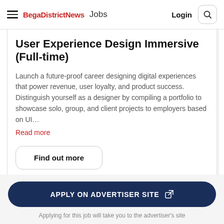Bega District News Jobs  Login
User Experience Design Immersive (Full-time)
Launch a future-proof career designing digital experiences that power revenue, user loyalty, and product success. Distinguish yourself as a designer by compiling a portfolio to showcase solo, group, and client projects to employers based on UI…
Read more
Find out more
APPLY ON ADVERTISER SITE
Applying for this job will take you to the advertiser's site